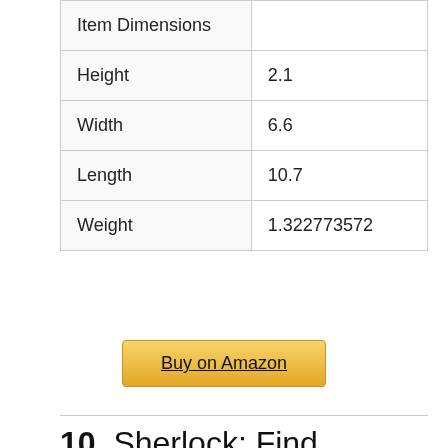| Item Dimensions |  |
| --- | --- |
| Height | 2.1 |
| Width | 6.6 |
| Length | 10.7 |
| Weight | 1.322773572 |
Buy on Amazon
10. Sherlock: Find Hidden Objects and Master Match & Puzzles - Reveal from...